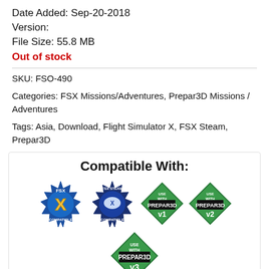Date Added: Sep-20-2018
Version:
File Size: 55.8 MB
Out of stock
SKU: FSO-490
Categories: FSX Missions/Adventures, Prepar3D Missions / Adventures
Tags: Asia, Download, Flight Simulator X, FSX Steam, Prepar3D
[Figure (logo): Compatible With: FSX Compatible badge, FSX Steam Compatible badge, Use With Prepar3D v1 badge, Use With Prepar3D v2 badge, Use With Prepar3D v3 badge]